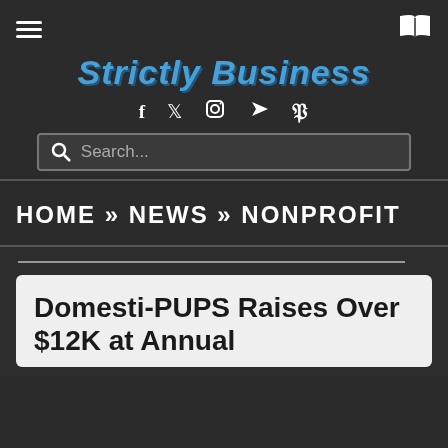Strictly Business
HOME » NEWS » NONPROFIT
Domesti-PUPS Raises Over $12K at Annual